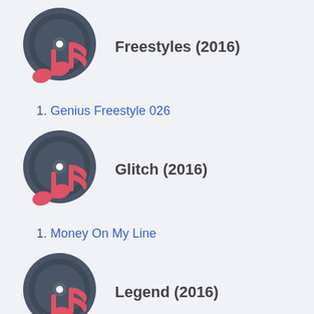[Figure (illustration): Vinyl record icon with red music note, for Freestyles (2016)]
Freestyles (2016)
1. Genius Freestyle 026
[Figure (illustration): Vinyl record icon with red music note, for Glitch (2016)]
Glitch (2016)
1. Money On My Line
[Figure (illustration): Vinyl record icon with red music note, for Legend (2016)]
Legend (2016)